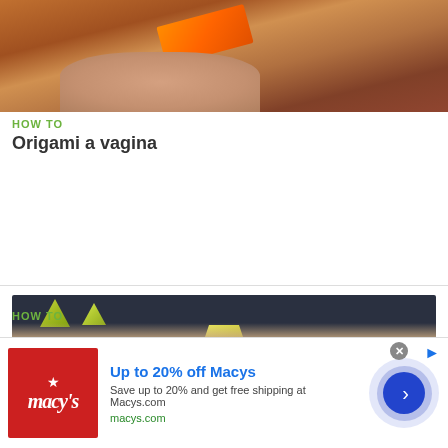[Figure (photo): Hands holding and folding orange/red paper, origami tutorial thumbnail]
HOW TO
Origami a vagina
[Figure (photo): Hands folding yellow-green origami pieces on a dark surface, multiple origami shapes visible]
HOW TO
Make 1,000 origami cranes fast...
[Figure (other): Macy's advertisement banner: Up to 20% off Macys, Save up to 20% and get free shipping at Macys.com, macys.com]